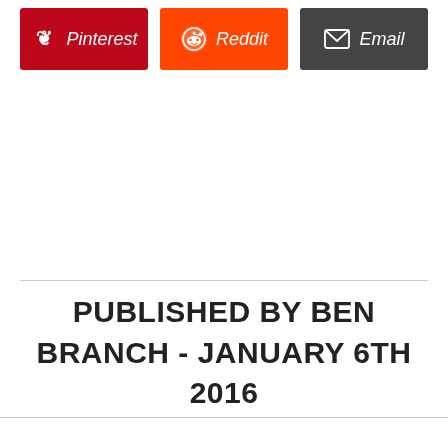[Figure (other): Row of social share buttons: Pinterest (red), Reddit (orange), Email (dark gray), each with icon and italic label]
PUBLISHED BY BEN BRANCH - JANUARY 6TH 2016